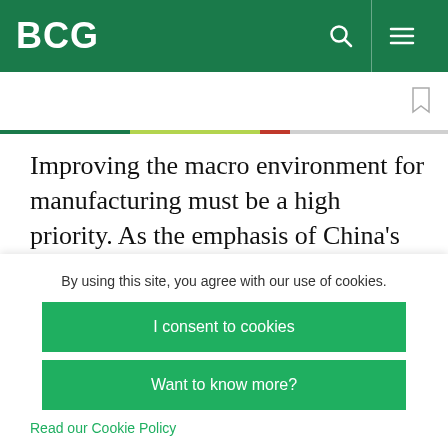BCG
Improving the macro environment for manufacturing must be a high priority. As the emphasis of China's economic growth model shifts to services and boosting personal consumption, industry will have to compete harder for private
By using this site, you agree with our use of cookies.
I consent to cookies
Want to know more?
Read our Cookie Policy